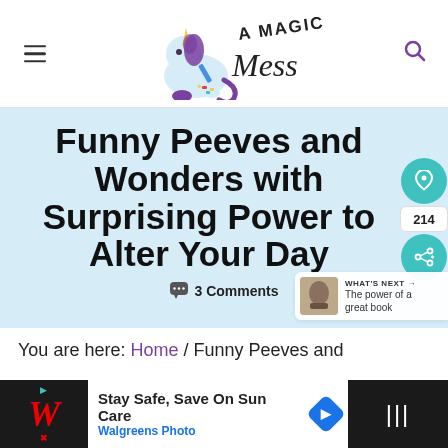A Magical Mess
Funny Peeves and Wonders with Surprising Power to Alter Your Day
💬 3 Comments
WHAT'S NEXT → The power of a great book
You are here: Home / Funny Peeves and
Stay Safe, Save On Sun Care Walgreens Photo